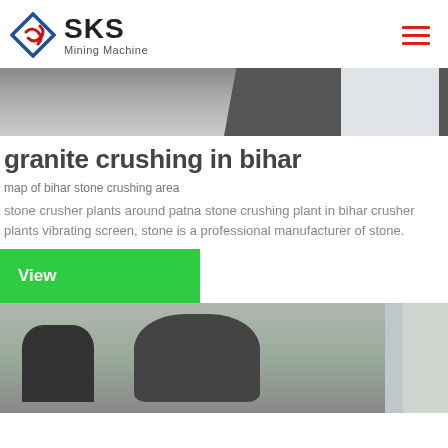SKS Mining Machine
[Figure (photo): Industrial mining machinery - top banner image showing dark industrial equipment and a white silo structure]
granite crushing in bihar
map of bihar stone crushing area
stone crusher plants around patna stone crushing plant in bihar crusher plants vibrating screen, stone is a professional manufacturer of stone.
[Figure (other): Green 'View' button]
[Figure (photo): Industrial mining facility interior showing a large cone crusher machine with a chimney/pipe on the left, inside a warehouse with steel roof structure]